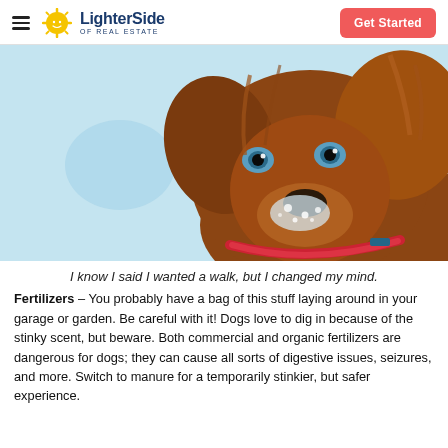LighterSide of Real Estate — Get Started
[Figure (photo): Close-up photo of a brown/red Irish Setter dog with blue eyes and snow on its muzzle, wearing a red collar, against a light blue snowy background.]
I know I said I wanted a walk, but I changed my mind.
Fertilizers – You probably have a bag of this stuff laying around in your garage or garden. Be careful with it! Dogs love to dig in because of the stinky scent, but beware. Both commercial and organic fertilizers are dangerous for dogs; they can cause all sorts of digestive issues, seizures, and more. Switch to manure for a temporarily stinkier, but safer experience.